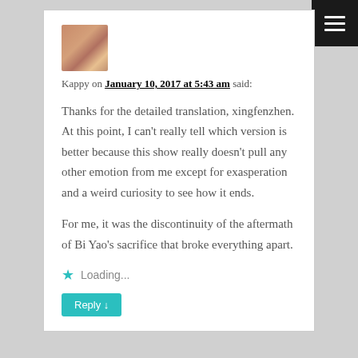[Figure (photo): Avatar photo of user Kappy — woman with reddish hair]
Kappy on January 10, 2017 at 5:43 am said:
Thanks for the detailed translation, xingfenzhen. At this point, I can't really tell which version is better because this show really doesn't pull any other emotion from me except for exasperation and a weird curiosity to see how it ends.
For me, it was the discontinuity of the aftermath of Bi Yao's sacrifice that broke everything apart.
Loading...
Reply ↓